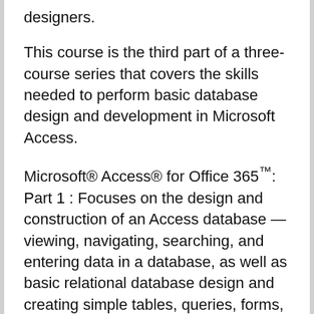designers.
This course is the third part of a three-course series that covers the skills needed to perform basic database design and development in Microsoft Access.
Microsoft® Access® for Office 365™: Part 1 : Focuses on the design and construction of an Access database — viewing, navigating, searching, and entering data in a database, as well as basic relational database design and creating simple tables, queries, forms, and reports.
Microsoft® Access® for Office 365™: Part 2 : Focuses on optimization of an Access database, including optimizing performance and normalizing data;